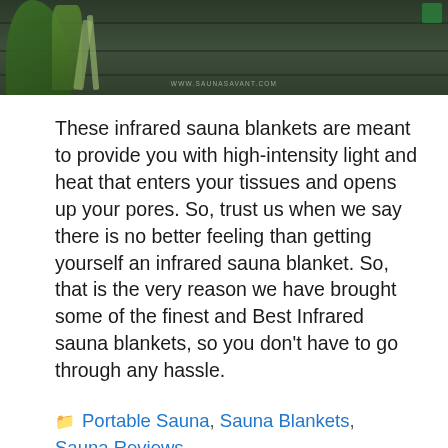[Figure (photo): Dark wooden sauna exterior wall with green plants and grass in foreground, watermark reading www.saunasavant.com at bottom center]
These infrared sauna blankets are meant to provide you with high-intensity light and heat that enters your tissues and opens up your pores. So, trust us when we say there is no better feeling than getting yourself an infrared sauna blanket. So, that is the very reason we have brought some of the finest and Best Infrared sauna blankets, so you don't have to go through any hassle.
Portable Sauna, Sauna Blankets, Sauna Reviews